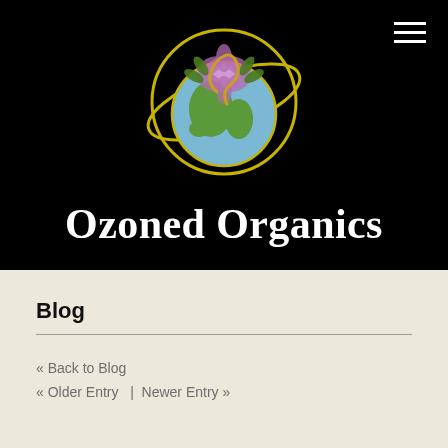[Figure (logo): Ozoned Organics logo: a globe with flower-of-life patterns, cannabis leaves, and a snake/vine motif, surrounded by a yellow ring, on a black background]
Ozoned Organics
Blog
« Back to Blog
« Older Entry   |   Newer Entry »